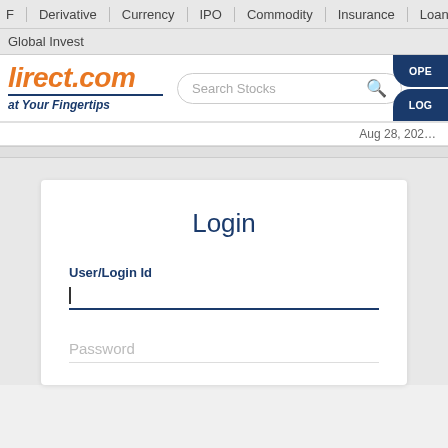Derivative | Currency | IPO | Commodity | Insurance | Loan | Global Invest
[Figure (screenshot): ICICIdirect.com logo with tagline 'at Your Fingertips', search bar showing 'Search Stocks', and OPEN/LOGIN buttons]
Aug 28, 202...
Login
User/Login Id
Password